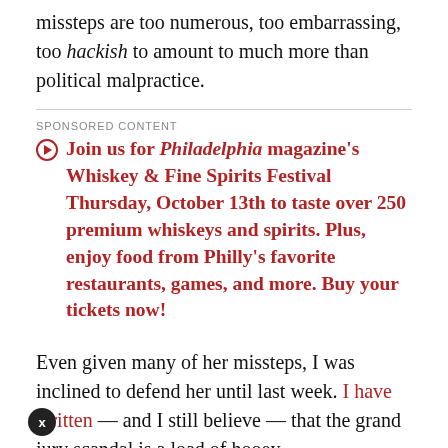missteps are too numerous, too embarrassing, too hackish to amount to much more than political malpractice.
SPONSORED CONTENT
Join us for Philadelphia magazine's Whiskey & Fine Spirits Festival Thursday, October 13th to taste over 250 premium whiskeys and spirits. Plus, enjoy food from Philly's favorite restaurants, games, and more. Buy your tickets now!
Even given many of her missteps, I was inclined to defend her until last week. I have written — and I still believe — that the grand jury scandal is a load of hooey,